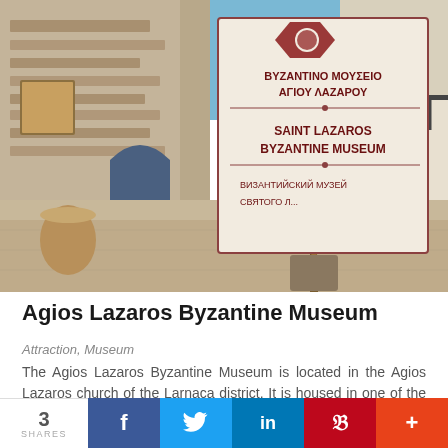[Figure (photo): Exterior courtyard of Agios Lazaros Byzantine Museum with stone buildings, a palm tree, and a museum sign in Greek, English and Russian]
Agios Lazaros Byzantine Museum
Attraction, Museum
The Agios Lazaros Byzantine Museum is located in the Agios Lazaros church of the Larnaca district. It is housed in one of the cells of th...
3 SHARES  f  t  in  p  +